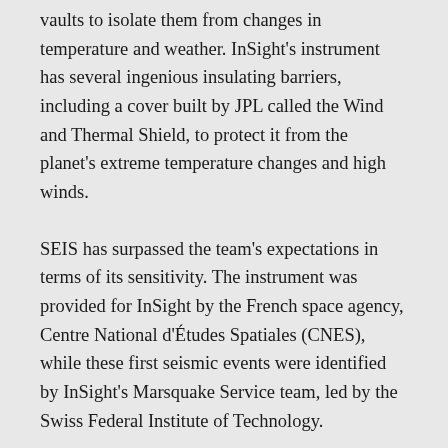vaults to isolate them from changes in temperature and weather. InSight's instrument has several ingenious insulating barriers, including a cover built by JPL called the Wind and Thermal Shield, to protect it from the planet's extreme temperature changes and high winds.
SEIS has surpassed the team's expectations in terms of its sensitivity. The instrument was provided for InSight by the French space agency, Centre National d'Études Spatiales (CNES), while these first seismic events were identified by InSight's Marsquake Service team, led by the Swiss Federal Institute of Technology.